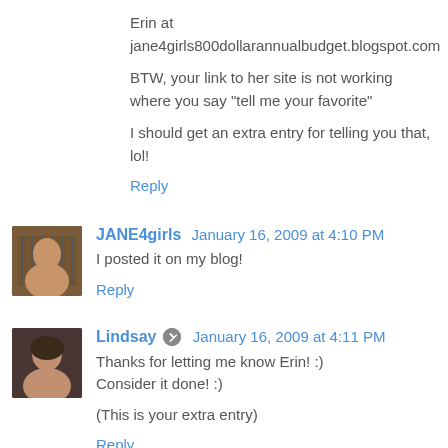Erin at jane4girls800dollarannualbudget.blogspot.com
BTW, your link to her site is not working where you say "tell me your favorite"
I should get an extra entry for telling you that, lol!
Reply
JANE4girls  January 16, 2009 at 4:10 PM
I posted it on my blog!
Reply
Lindsay  January 16, 2009 at 4:11 PM
Thanks for letting me know Erin! :)
Consider it done! :)
(This is your extra entry)
Reply